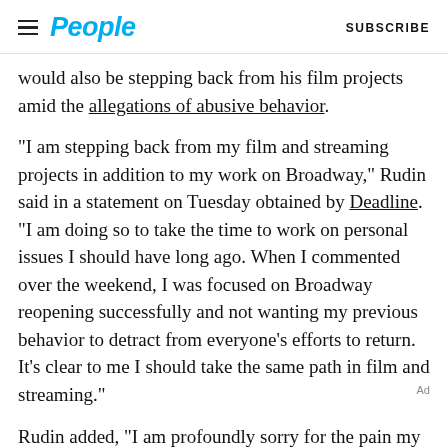People | SUBSCRIBE
would also be stepping back from his film projects amid the allegations of abusive behavior.

“I am stepping back from my film and streaming projects in addition to my work on Broadway,” Rudin said in a statement on Tuesday obtained by Deadline. “I am doing so to take the time to work on personal issues I should have long ago. When I commented over the weekend, I was focused on Broadway reopening successfully and not wanting my previous behavior to detract from everyone’s efforts to return. It’s clear to me I should take the same path in film and streaming.”

Rudin added, “I am profoundly sorry for the pain my